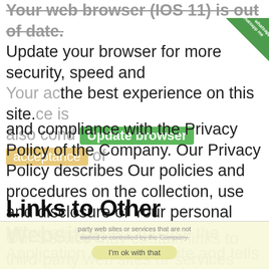[Figure (screenshot): Browser update warning overlay banner with 'Update browser' green button and 'acceptance' tan/yellow button, partially obscuring background text about privacy policy. A WhatsApp corner badge is visible top-right.]
and compliance with the Privacy Policy of the Company. Our Privacy Policy describes Our policies and procedures on the collection, use and disclosure of Your personal information when You use the Application or the Website and tells You about Your privacy rights and how the law protects You. Please read Our Privacy Policy carefully before using Our Service.
Links to Other Websites
Our Service may contain links to third-party web sites or services that are not owned or controlled by the Company.
[Figure (screenshot): Cookie consent bar at the bottom of the page with faded background text and an 'I'm ok with that' button.]